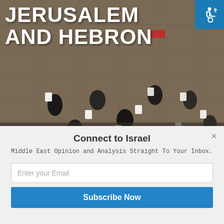[Figure (photo): Aerial/overhead photo of people sitting at white chairs and tables on stone plaza, likely the Western Wall plaza in Jerusalem. Large bold white text overlay reads 'JERUSALEM AND HEBRON'. Accessibility icon (wheelchair symbol) in top-right corner on blue background.]
Connect to Israel
Middle East Opinion and Analysis Straight To Your Inbox.